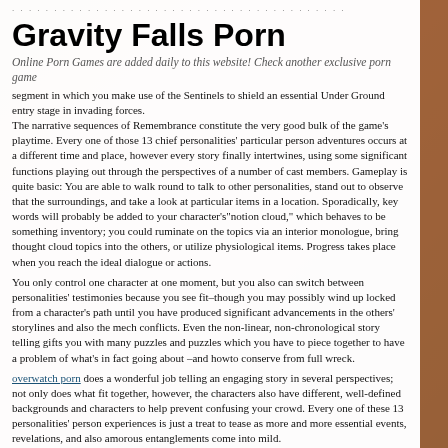Gravity Falls Porn
Online Porn Games are added daily to this website! Check another exclusive porn game
segment in which you make use of the Sentinels to shield an essential Under Ground entry stage in invading forces.
The narrative sequences of Remembrance constitute the very good bulk of the game's playtime. Every one of those 13 chief personalities' particular person adventures occurs at a different time and place, however every story finally intertwines, using some significant functions playing out through the perspectives of a number of cast members. Gameplay is quite basic: You are able to walk round to talk to other personalities, stand out to observe that the surroundings, and take a look at particular items in a location. Sporadically, key words will probably be added to your character's"notion cloud," which behaves to be something inventory; you could ruminate on the topics via an interior monologue, bring thought cloud topics into the others, or utilize physiological items. Progress takes place when you reach the ideal dialogue or actions.
You only control one character at one moment, but you also can switch between personalities' testimonies because you see fit–though you may possibly wind up locked from a character's path until you have produced significant advancements in the others' storylines and also the mech conflicts. Even the non-linear, non-chronological story telling gifts you with many puzzles and puzzles which you have to piece together to have a problem of what's in fact going about –and howto conserve from full wreck.
overwatch porn does a wonderful job telling an engaging story in several perspectives; not only does what fit together, however, the characters also have different, well-defined backgrounds and characters to help prevent confusing your crowd. Every one of these 13 personalities' person experiences is just a treat to tease as more and more essential events, revelations, and also amorous entanglements come into mild.
There is Juro, a nerd who loves obscure sci fi b movies and chilling out along with his best friend afterschool. He stocks a class with Iori, a significantly awkward woman who keeps falling asleep during school because frightening fantasies keep up her at nighttime